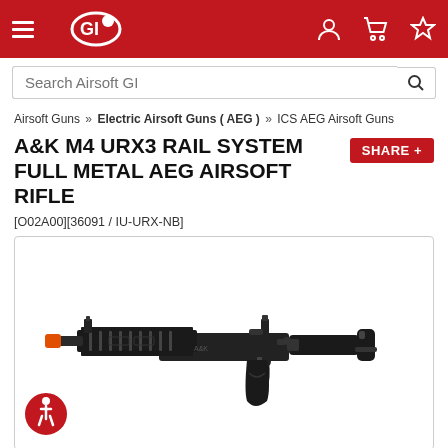Airsoft GI - navigation header with logo, hamburger menu, user, cart, and wishlist icons
Search Airsoft GI
Airsoft Guns » Electric Airsoft Guns ( AEG ) » ICS AEG Airsoft Guns
A&K M4 URX3 RAIL SYSTEM FULL METAL AEG AIRSOFT RIFLE
[O02A00][36091 / IU-URX-NB]
[Figure (photo): Black airsoft rifle (A&K M4 URX3 with full metal body and URX3 rail system) displayed on white background, with orange muzzle tip, side-folding stock, and vertical foregrip area visible.]